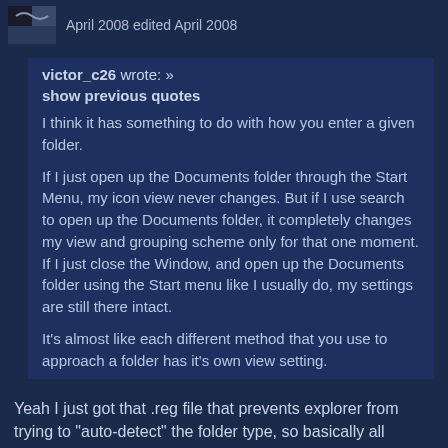April 2008 edited April 2008
victor_c26 wrote: »
show previous quotes

I think it has something to do with how you enter a given folder.

If I just open up the Documents folder through the Start Menu, my icon view never changes. But if I use search to open up the Documents folder, it completely changes my view and grouping scheme only for that one moment. If I just close the Window, and open up the Documents folder using the Start menu like I usually do, my settings are still there intact.

It's almost like each different method that you use to approach a folder has it's own view setting.
Yeah I just got that .reg file that prevents explorer from trying to "auto-detect" the folder type, so basically all folders load in Details unless I change them. And if I change them, they stay.